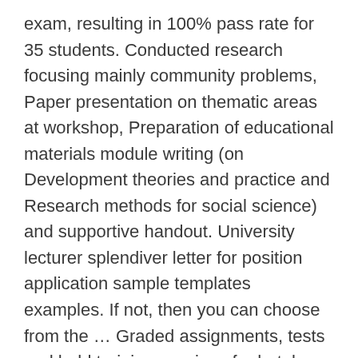exam, resulting in 100% pass rate for 35 students. Conducted research focusing mainly community problems, Paper presentation on thematic areas at workshop, Preparation of educational materials module writing (on Development theories and practice and Research methods for social science) and supportive handout. University lecturer splendiver letter for position application sample templates examples. If not, then you can choose from the … Graded assignments, tests and held training sessions for hotel managers and travel agents. Resume - Fresher Lecturer Resume - resume format for lecturer - Best fresher lecturer resume samples and examples - you can download easily. Aware of all current Equality and Diversity legislation. 3) Share course materials and insights with other faculty members. _ Plus POS, (Oracle